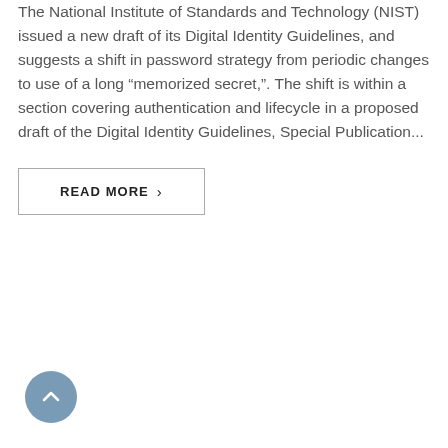The National Institute of Standards and Technology (NIST) issued a new draft of its Digital Identity Guidelines, and suggests a shift in password strategy from periodic changes to use of a long “memorized secret,”. The shift is within a section covering authentication and lifecycle in a proposed draft of the Digital Identity Guidelines, Special Publication...
READ MORE >
[Figure (other): Scroll-to-top button: a round blue-grey circle with a white upward-pointing chevron arrow]